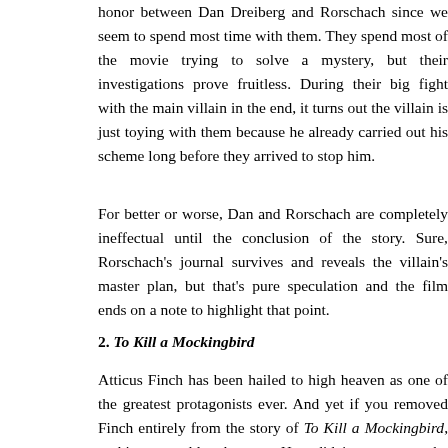honor between Dan Dreiberg and Rorschach since we seem to spend most time with them. They spend most of the movie trying to solve a mystery, but their investigations prove fruitless. During their big fight with the main villain in the end, it turns out the villain is just toying with them because he already carried out his scheme long before they arrived to stop him.
For better or worse, Dan and Rorschach are completely ineffectual until the conclusion of the story. Sure, Rorschach's journal survives and reveals the villain's master plan, but that's pure speculation and the film ends on a note to highlight that point.
2. To Kill a Mockingbird
Atticus Finch has been hailed to high heaven as one of the greatest protagonists ever. And yet if you removed Finch entirely from the story of To Kill a Mockingbird, nothing would change. He didn't prevent the townspeople from coming to the jail and killing an innocent man; his daughter did. He didn't save his daughter from certain death; R